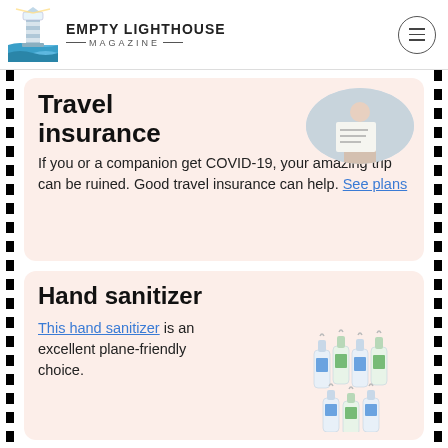EMPTY LIGHTHOUSE MAGAZINE
Travel insurance
If you or a companion get COVID-19, your amazing trip can be ruined. Good travel insurance can help. See plans
[Figure (photo): Overhead photo of a person writing or planning travel documents]
Hand sanitizer
This hand sanitizer is an excellent plane-friendly choice.
[Figure (photo): Multiple small hand sanitizer bottles with loop clips]